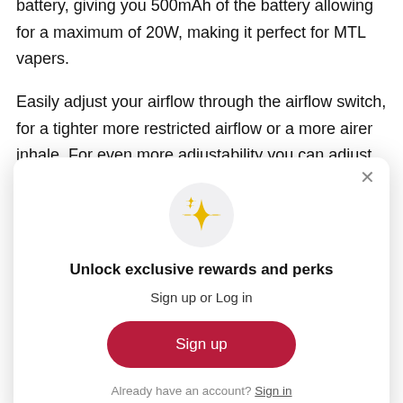battery, giving you 500mAh of the battery allowing for a maximum of 20W, making it perfect for MTL vapers.
Easily adjust your airflow through the airflow switch, for a tighter more restricted airflow or a more airer inhale. For even more adjustability you can adjust the power depending on your style, white shows high power, green shows mild power and blue shows lower power.
[Figure (screenshot): Modal popup overlay with sparkle icon, heading 'Unlock exclusive rewards and perks', subheading 'Sign up or Log in', a red 'Sign up' button, and text 'Already have an account? Sign in'. A close (×) button is in the top-right corner.]
protection. Over-discharge protection. Max power